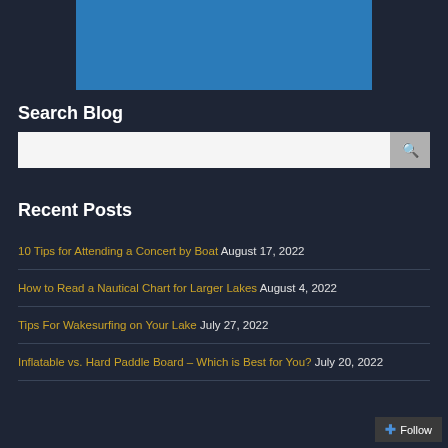[Figure (other): Blue rectangular banner/header image]
Search Blog
[Figure (other): Search input bar with search button icon]
Recent Posts
10 Tips for Attending a Concert by Boat August 17, 2022
How to Read a Nautical Chart for Larger Lakes August 4, 2022
Tips For Wakesurfing on Your Lake July 27, 2022
Inflatable vs. Hard Paddle Board – Which is Best for You? July 20, 2022